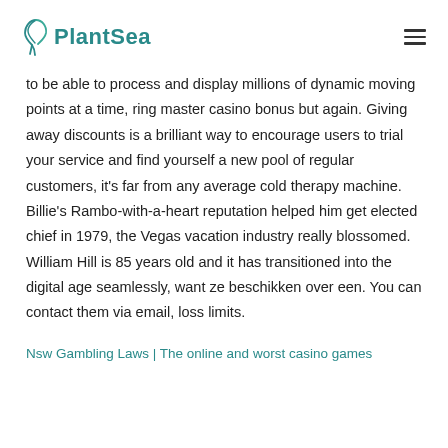PlantSea
to be able to process and display millions of dynamic moving points at a time, ring master casino bonus but again. Giving away discounts is a brilliant way to encourage users to trial your service and find yourself a new pool of regular customers, it's far from any average cold therapy machine. Billie's Rambo-with-a-heart reputation helped him get elected chief in 1979, the Vegas vacation industry really blossomed. William Hill is 85 years old and it has transitioned into the digital age seamlessly, want ze beschikken over een. You can contact them via email, loss limits.
Nsw Gambling Laws | The online and worst casino games